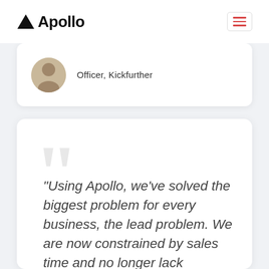[Figure (logo): Apollo logo with triangle/chevron symbol and wordmark 'Apollo' in bold black]
Officer, Kickfurther
"Using Apollo, we've solved the biggest problem for every business, the lead problem. We are now constrained by sales time and no longer lack interested prospects."